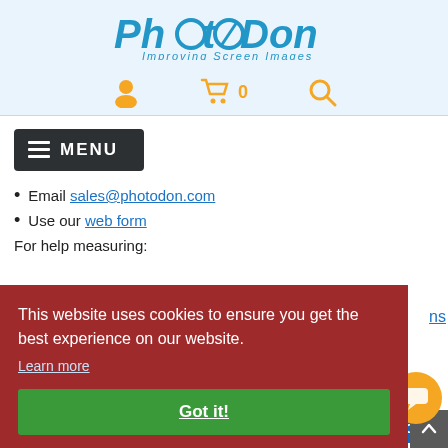[Figure (logo): PhotaDon logo with tagline 'Improving Screen Images']
[Figure (screenshot): Navigation icons: user icon, shopping cart with 0, search icon]
[Figure (screenshot): Dark MENU button with hamburger icon]
Email sales@photodon.com
Use our web form
For help measuring:
[Figure (screenshot): Cookie consent overlay: 'This website uses cookies to ensure you get the best experience on our website. Learn more' with a green Got it! button]
[Figure (screenshot): Live Chat button with orange chat circle]
[Figure (logo): PhotaDon footer logo in blue italic]